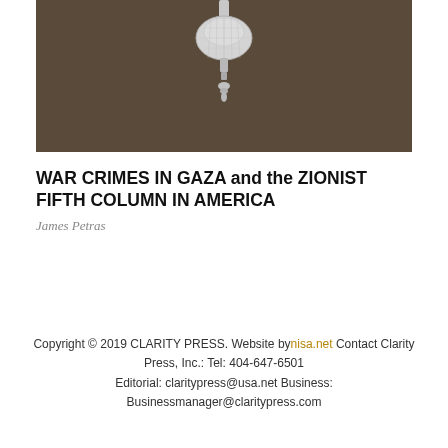[Figure (photo): A crystal chandelier hanging against a dark brown background, photographed from below showing the ornate glass fixture.]
WAR CRIMES IN GAZA and the ZIONIST FIFTH COLUMN IN AMERICA
James Petras
Copyright © 2019 CLARITY PRESS. Website by nisa.net Contact Clarity Press, Inc.: Tel: 404-647-6501 Editorial: claritypress@usa.net Business: Businessmanager@claritypress.com